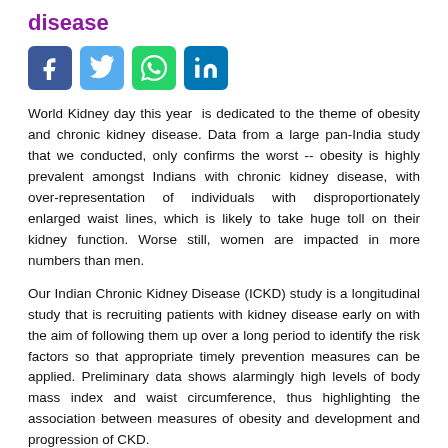disease
[Figure (other): Social media sharing icons: Facebook, Twitter, WhatsApp, LinkedIn]
World Kidney day this year  is dedicated to the theme of obesity and chronic kidney disease. Data from a large pan-India study that we conducted, only confirms the worst -- obesity is highly prevalent amongst Indians with chronic kidney disease, with over-representation of individuals with disproportionately enlarged waist lines, which is likely to take huge toll on their kidney function. Worse still, women are impacted in more numbers than men.
Our Indian Chronic Kidney Disease (ICKD) study is a longitudinal study that is recruiting patients with kidney disease early on with the aim of following them up over a long period to identify the risk factors so that appropriate timely prevention measures can be applied. Preliminary data shows alarmingly high levels of body mass index and waist circumference, thus highlighting the association between measures of obesity and development and progression of CKD.